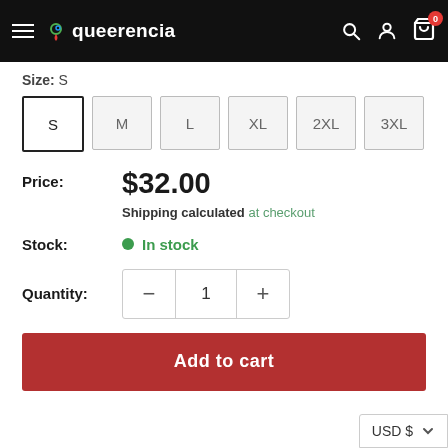queerencia - navigation header with hamburger menu, logo, search, account, and cart icons
Size: S
S  M  L  XL  2XL  3XL
Price: $32.00
Shipping calculated at checkout
Stock: In stock
Quantity: 1
Add to cart
USD $